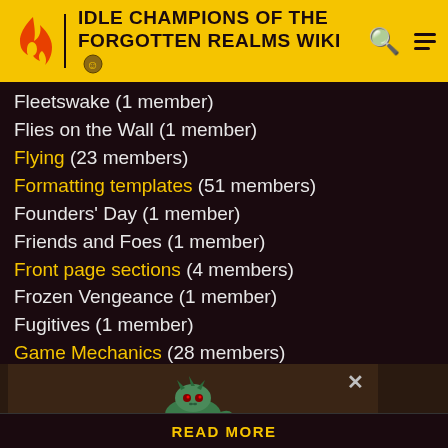IDLE CHAMPIONS OF THE FORGOTTEN REALMS WIKI
Fleetswake (1 member)
Flies on the Wall (1 member)
Flying (23 members)
Formatting templates (51 members)
Founders' Day (1 member)
Friends and Foes (1 member)
Front page sections (4 members)
Frozen Vengeance (1 member)
Fugitives (1 member)
Game Mechanics (28 members)
Gear (1 member)
Giant (9 members)
Gith (4 members)
Githyanki (4 members)
Gnoll (5 members)
Gnome (2 members)
[Figure (screenshot): Game creature illustration — green monster/creature image in a dark panel with a close button (×) and a READ MORE bar at the bottom]